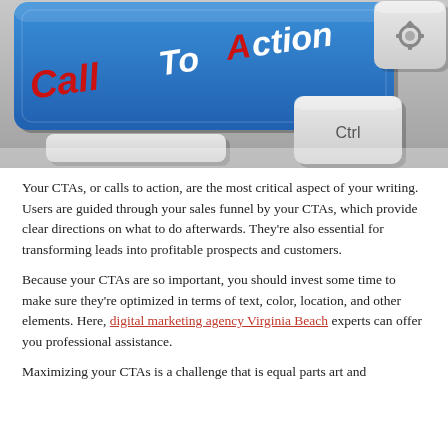[Figure (photo): Close-up of a keyboard with a blue 'Call To Action' key with red text, and a 'Ctrl' key visible, along with a gear icon key.]
Your CTAs, or calls to action, are the most critical aspect of your writing. Users are guided through your sales funnel by your CTAs, which provide clear directions on what to do afterwards. They're also essential for transforming leads into profitable prospects and customers.
Because your CTAs are so important, you should invest some time to make sure they're optimized in terms of text, color, location, and other elements. Here, digital marketing agency Virginia Beach experts can offer you professional assistance.
Maximizing your CTAs is a challenge that is equal parts art and